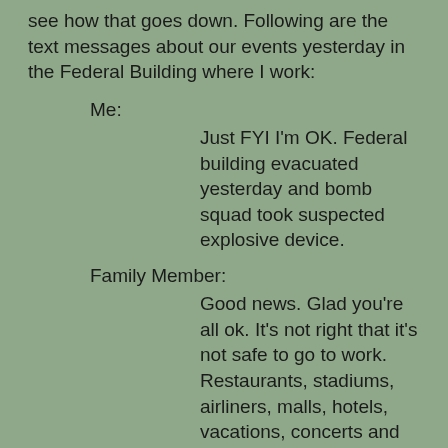see how that goes down. Following are the text messages about our events yesterday in the Federal Building where I work:
Me:
Just FYI I'm OK. Federal building evacuated yesterday and bomb squad took suspected explosive device.
Family Member:
Good news. Glad you're all ok. It's not right that it's not safe to go to work. Restaurants, stadiums, airliners, malls, hotels, vacations, concerts and office towers are not safe either.
Me:
Federal buildings (like Oklahoma City) seem to be a particular target for some.